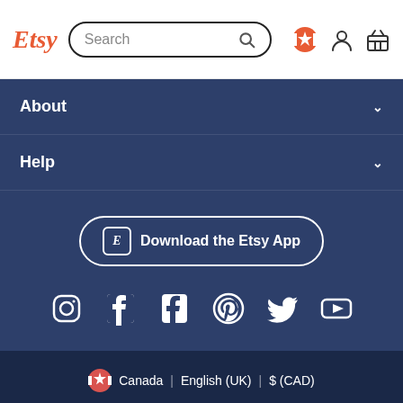Etsy Search
About
Help
Download the Etsy App
[Figure (infographic): Social media icons: Instagram, Facebook, Pinterest, Twitter, YouTube]
Canada | English (UK) | $ (CAD)
© 2022 Etsy, Inc. Terms of Use Privacy Interest-based ads